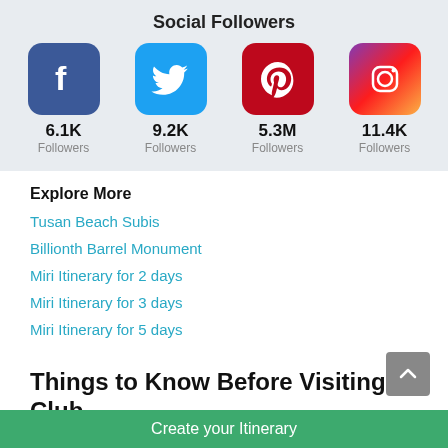Social Followers
[Figure (infographic): Social media follower counts: Facebook 6.1K, Twitter 9.2K, Pinterest 5.3M, Instagram 11.4K]
Explore More
Tusan Beach Subis
Billionth Barrel Monument
Miri Itinerary for 2 days
Miri Itinerary for 3 days
Miri Itinerary for 5 days
Things to Know Before Visiting Club
Create your Itinerary